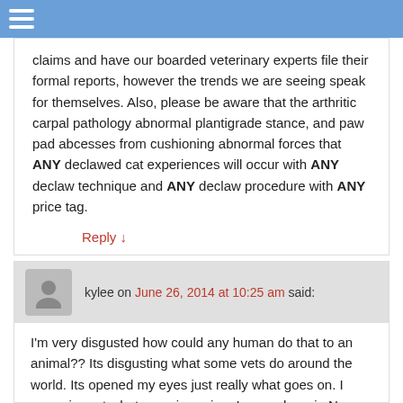☰
claims and have our boarded veterinary experts file their formal reports, however the trends we are seeing speak for themselves. Also, please be aware that the arthritic carpal pathology abnormal plantigrade stance, and paw pad abcesses from cushioning abnormal forces that ANY declawed cat experiences will occur with ANY declaw technique and ANY declaw procedure with ANY price tag.
Reply ↓
kylee on June 26, 2014 at 10:25 am said:
I'm very disgusted how could any human do that to an animal?? Its disgusting what some vets do around the world. Its opened my eyes just really what goes on. I agree in part what marc is saying. I guess here in New Zealand things are so much different. I guess its always good to Question the Vets and ask Questions. Yes its always important to Empathize as you couldn't be a cat lover if you have no Empathy or no Feelings at all. I do believe that one day there